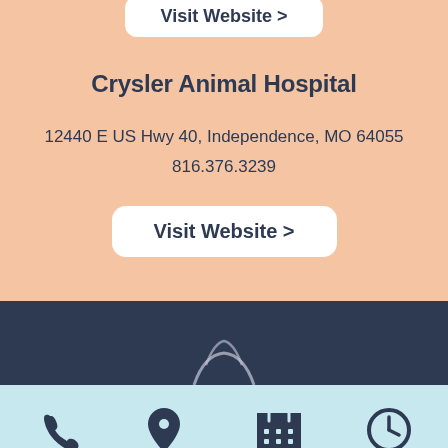[Figure (other): Partially visible 'Visit Website >' button at top of page (cropped)]
Crysler Animal Hospital
12440 E US Hwy 40, Independence, MO 64055
816.376.3239
[Figure (other): White rounded rectangle button with text 'Visit Website >']
[Figure (other): Dark navy section with partial paw print logo visible]
[Figure (other): Light blue navigation bar with four icons: Call (phone), Location (pin), Schedule (calendar), Hours (clock)]